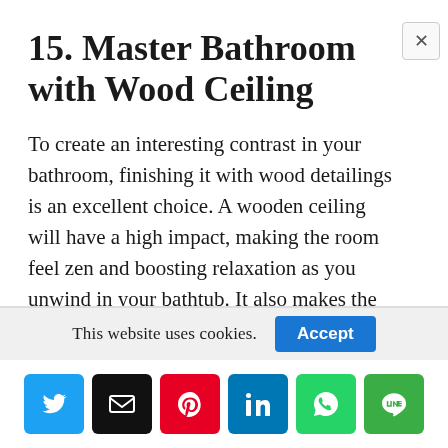15. Master Bathroom with Wood Ceiling
To create an interesting contrast in your bathroom, finishing it with wood detailings is an excellent choice. A wooden ceiling will have a high impact, making the room feel zen and boosting relaxation as you unwind in your bathtub. It also makes the white and off-white shades feel warmer and more
This website uses cookies.
[Figure (other): Social share bar with Twitter, Email, Pinterest, LinkedIn, WhatsApp, and LINE icons]